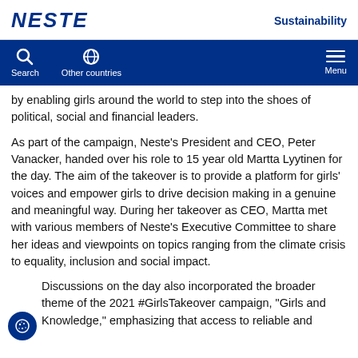NESTE | Sustainability
Search | Other countries | Menu
by enabling girls around the world to step into the shoes of political, social and financial leaders.
As part of the campaign, Neste's President and CEO, Peter Vanacker, handed over his role to 15 year old Martta Lyytinen for the day. The aim of the takeover is to provide a platform for girls' voices and empower girls to drive decision making in a genuine and meaningful way. During her takeover as CEO, Martta met with various members of Neste's Executive Committee to share her ideas and viewpoints on topics ranging from the climate crisis to equality, inclusion and social impact.
Discussions on the day also incorporated the broader theme of the 2021 #GirlsTakeover campaign, "Girls and Knowledge," emphasizing that access to reliable and